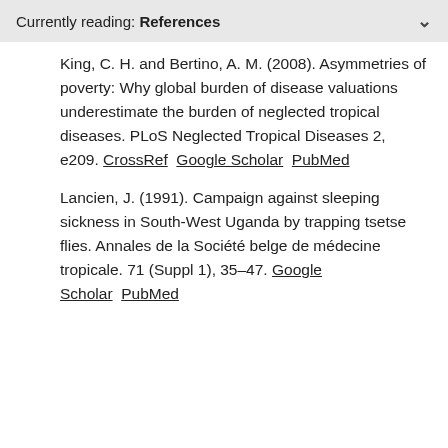Currently reading: References
King, C. H. and Bertino, A. M. (2008). Asymmetries of poverty: Why global burden of disease valuations underestimate the burden of neglected tropical diseases. PLoS Neglected Tropical Diseases 2, e209. CrossRef  Google Scholar  PubMed
Lancien, J. (1991). Campaign against sleeping sickness in South-West Uganda by trapping tsetse flies. Annales de la Société belge de médecine tropicale. 71 (Suppl 1), 35–47. Google Scholar  PubMed